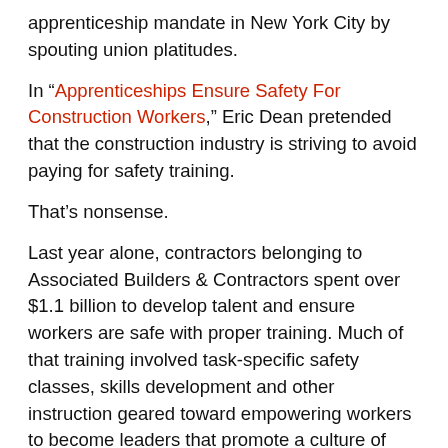apprenticeship mandate in New York City by spouting union platitudes.
In “Apprenticeships Ensure Safety For Construction Workers,” Eric Dean pretended that the construction industry is striving to avoid paying for safety training.
That’s nonsense.
Last year alone, contractors belonging to Associated Builders & Contractors spent over $1.1 billion to develop talent and ensure workers are safe with proper training. Much of that training involved task-specific safety classes, skills development and other instruction geared toward empowering workers to become leaders that promote a culture of safety on the job site. A ground-up safety program is necessary and that’s what we’ve proposed to the City Council.
Incidentally, we believe that New York City construction needs more training that is data-driven to address the underlying problems.